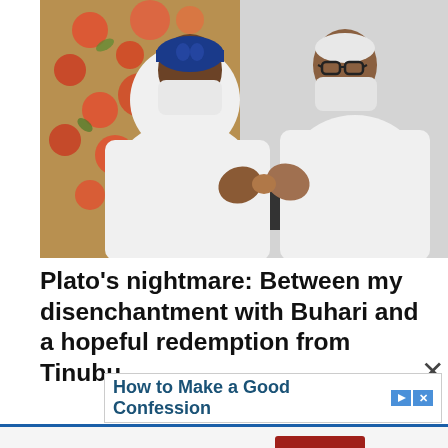[Figure (photo): Two men wearing white traditional Nigerian attire and face masks, doing an elbow bump greeting. The man on the left wears a blue cap, the man on the right wears glasses. A floral curtain is visible in the background.]
Plato's nightmare: Between my disenchantment with Buhari and a hopeful redemption from Tinubu
How to Make a Good Confession
This website uses cookies. Accept